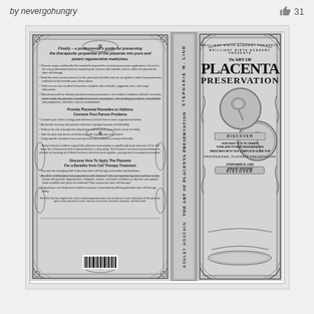by nevergohungry  31
[Figure (photo): Book cover design for 'The Art of Placenta Preservation' by Stephanie M. Lind and Ashley Houchin, published by Brilliant Birth Academy. Shows front cover, spine, and back cover with ornate Victorian-style decorative borders and text in grayscale.]